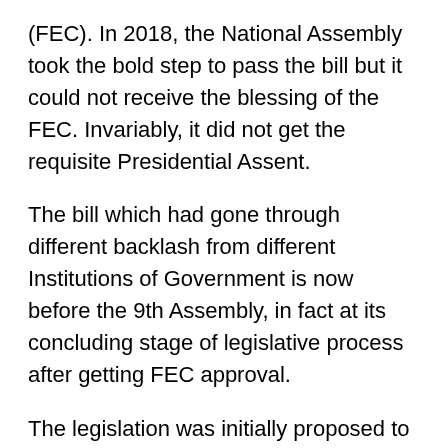(FEC). In 2018, the National Assembly took the bold step to pass the bill but it could not receive the blessing of the FEC. Invariably, it did not get the requisite Presidential Assent.
The bill which had gone through different backlash from different Institutions of Government is now before the 9th Assembly, in fact at its concluding stage of legislative process after getting FEC approval.
The legislation was initially proposed to be separated into two bills, namely; Proceeds of Crime (Civil Forfeiture and Management) Bill, 2019 and Criminal Confiscation and Forfeiture of Proceeds of Crime Bill, 2019. However, upon the review by ACJMC in conjunction with Law Enforcement Agencies (LEAs), FEC and other stakeholders, the initial proposed bills for non-conviction